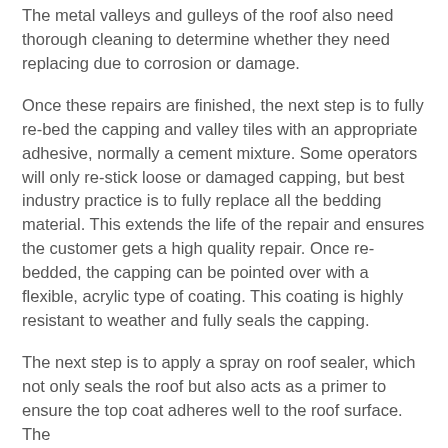The metal valleys and gulleys of the roof also need thorough cleaning to determine whether they need replacing due to corrosion or damage.
Once these repairs are finished, the next step is to fully re-bed the capping and valley tiles with an appropriate adhesive, normally a cement mixture. Some operators will only re-stick loose or damaged capping, but best industry practice is to fully replace all the bedding material. This extends the life of the repair and ensures the customer gets a high quality repair. Once re-bedded, the capping can be pointed over with a flexible, acrylic type of coating. This coating is highly resistant to weather and fully seals the capping.
The next step is to apply a spray on roof sealer, which not only seals the roof but also acts as a primer to ensure the top coat adheres well to the roof surface. The